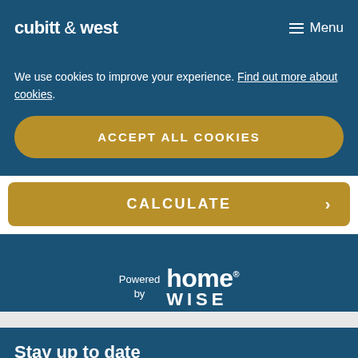cubitt & west  ☰ Menu
We use cookies to improve your experience. Find out more about cookies.
ACCEPT ALL COOKIES
CALCULATE ›
Powered by home® WISE
Stay up to date